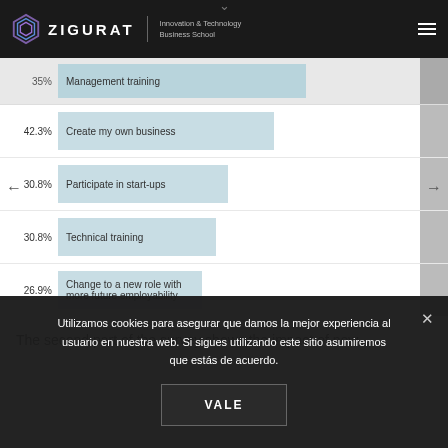[Figure (logo): Zigurat Innovation & Technology Business School logo with hexagonal icon]
[Figure (bar-chart): Survey results – career actions]
The second part of the survey shows the impact of new
Utilizamos cookies para asegurar que damos la mejor experiencia al usuario en nuestra web. Si sigues utilizando este sitio asumiremos que estás de acuerdo.